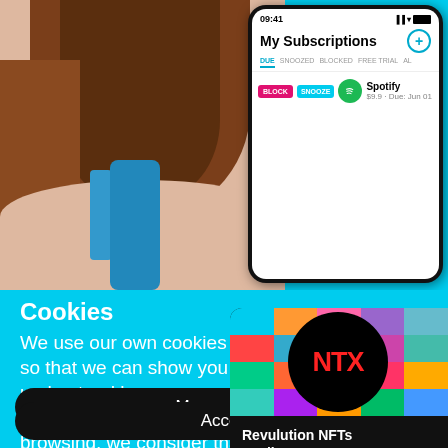[Figure (screenshot): Top section showing a woman holding a blue smartphone and a phone screen showing 'My Subscriptions' app with DUE, SNOOZED, BLOCKED, FREE TRIAL, AL tabs and a Spotify subscription row with BLOCK and SNOOZE buttons, $9.9 Due: Jun 01]
[Figure (screenshot): Cookie consent overlay on cyan/turquoise background with title 'Cookies', text about using cookies, Manage cookies button, Accept all button, and an NFT promotion popup showing NTX logo on colorful grid with 'Revulution NFTs are live! Buy them Now' text]